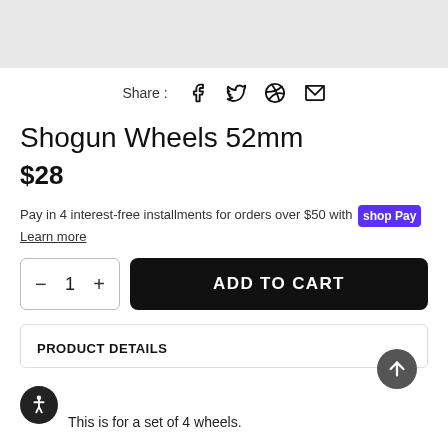[Figure (other): Product image placeholder, light gray background]
Share : [facebook] [twitter] [whatsapp] [email]
Shogun Wheels 52mm
$28
Pay in 4 interest-free installments for orders over $50 with shop Pay
Learn more
ADD TO CART (quantity: 1)
PRODUCT DETAILS
This is for a set of 4 wheels.